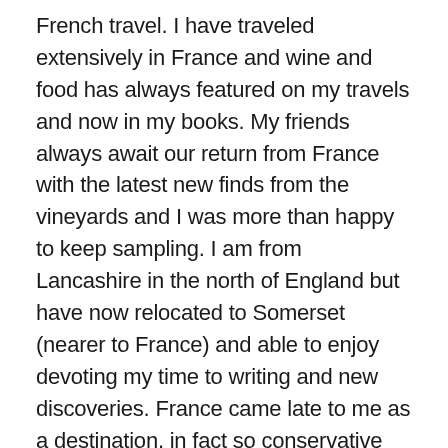French travel. I have traveled extensively in France and wine and food has always featured on my travels and now in my books. My friends always await our return from France with the latest new finds from the vineyards and I was more than happy to keep sampling. I am from Lancashire in the north of England but have now relocated to Somerset (nearer to France) and able to enjoy devoting my time to writing and new discoveries. France came late to me as a destination, in fact so conservative was my travel upbringing that it was a long time before I even ventured to Cornwall. I have more than made up for the slow start and have enjoyed helping many others with their travel plans to France and especially to Paris and Provence. I have written a series of four books on France - Three are now on Amazon:THE FIRST TIME WE SAW PARIS about our first steps in French Travel. THYME FOR